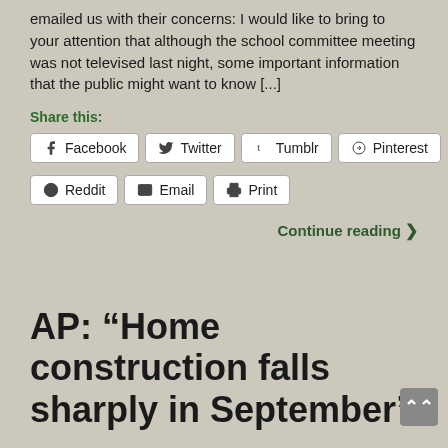emailed us with their concerns: I would like to bring to your attention that although the school committee meeting was not televised last night, some important information that the public might want to know [...]
Share this:
[Figure (other): Social share buttons: Facebook, Twitter, Tumblr, Pinterest, Reddit, Email, Print]
Continue reading ❯
AP: “Home construction falls sharply in September”